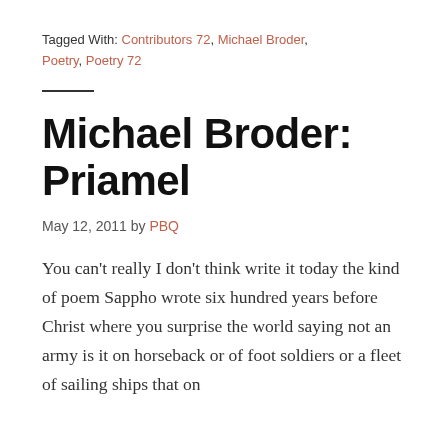Tagged With: Contributors 72, Michael Broder, Poetry, Poetry 72
Michael Broder: Priamel
May 12, 2011 by PBQ
You can't really I don't think write it today the kind of poem Sappho wrote six hundred years before Christ where you surprise the world saying not an army is it on horseback or of foot soldiers or a fleet of sailing ships that on